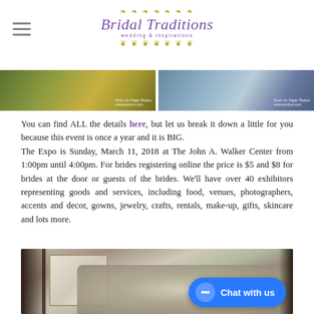Bridal Traditions
[Figure (photo): Two side-by-side wedding expo photos at the top of the page with photo credit watermarks]
You can find ALL the details here, but let us break it down a little for you because this event is once a year and it is BIG. The Expo is Sunday, March 11, 2018 at The John A. Walker Center from 1:00pm until 4:00pm. For brides registering online the price is $5 and $8 for brides at the door or guests of the brides. We'll have over 40 exhibitors representing goods and services, including food, venues, photographers, accents and decor, gowns, jewelry, crafts, rentals, make-up, gifts, skincare and lots more.
[Figure (photo): Wedding expo food/dessert display table with decorative items and a 'Chat with us' button overlay]